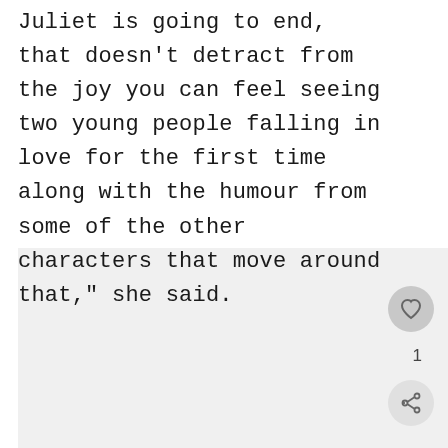Juliet is going to end, that doesn't detract from the joy you can feel seeing two young people falling in love for the first time along with the humour from some of the other characters that move around that," she said.